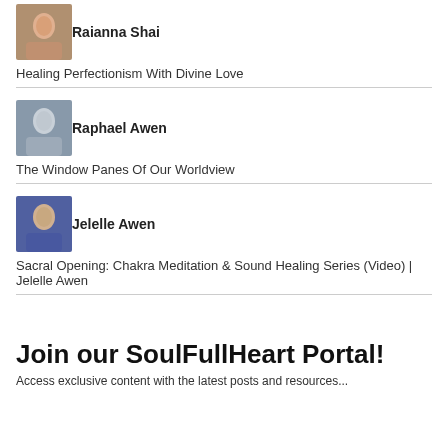[Figure (photo): Portrait photo of Raianna Shai]
Raianna Shai
Healing Perfectionism With Divine Love
[Figure (photo): Portrait photo of Raphael Awen]
Raphael Awen
The Window Panes Of Our Worldview
[Figure (photo): Portrait photo of Jelelle Awen]
Jelelle Awen
Sacral Opening: Chakra Meditation & Sound Healing Series (Video) | Jelelle Awen
Join our SoulFullHeart Portal!
Access exclusive content with the latest posts and resources...